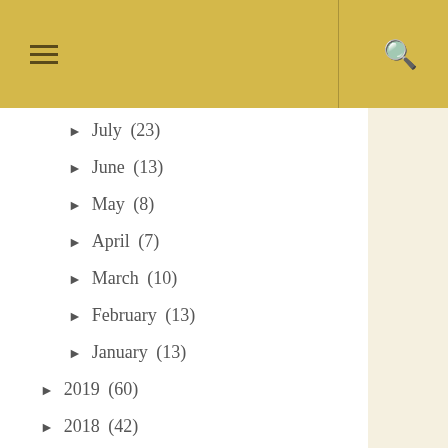≡  🔍
► July (23)
► June (13)
► May (8)
► April (7)
► March (10)
► February (13)
► January (13)
► 2019 (60)
► 2018 (42)
► 2016 (71)
► 2015 (10)
► 2014 (121)
► 2013 (21)
► 2012 (6)